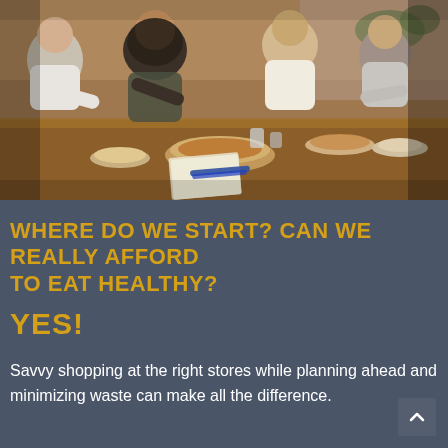[Figure (photo): A family of four (two adults and two children) seated around a dining table sharing a meal together, with various dishes including bowls of food on the table. Warm indoor lighting, cozy atmosphere.]
WHERE DO WE START? CAN WE REALLY AFFORD TO EAT HEALTHY?
YES!
Savvy shopping at the right stores while planning ahead and minimizing waste can make all the difference.